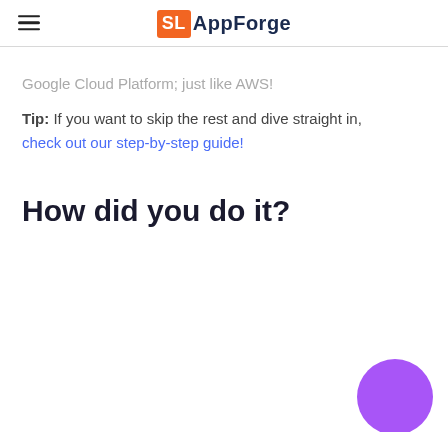SL AppForge
Google Cloud Platform; just like AWS!
Tip: If you want to skip the rest and dive straight in, check out our step-by-step guide!
How did you do it?